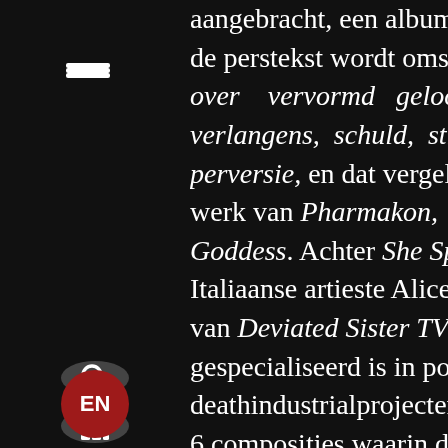[Figure (screenshot): Mobile app navigation sidebar with hamburger menu icon, search icon, grid icon, rewind icon, fast-forward icon, and EN language button on a dark background.]
aangebracht, een album dat in de perstekst wordt omschreven als een re... over vervormd geloof, onderdrukking, verlangens, schuld, straf, discipline en perversie, en dat vergeleken wordt met het werk van Pharmakon, Puce Mary en Seweryn Goddess. Achter She Spread Sorrow gaat de Italiaanse artieste Alice Kundalini schuil, lid van Deviated Sister TV, een gezelschap dat gespecialiseerd is in power electronics en deathindustrialprojecten. Het album bevat 6 composities waarin distorted drones en stemmen gecombineerd worden tot soundscapes voor een apocalyptisch wereld.